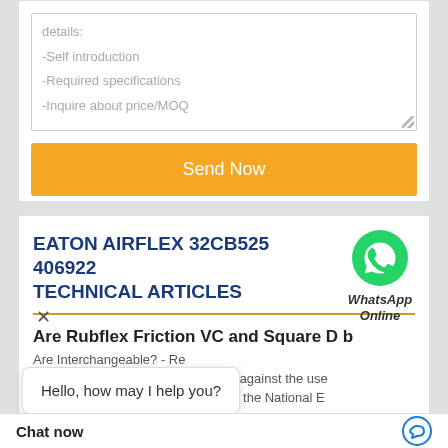details:
-Self introduction
-Required specifications
-Inquire about price/MOQ
Send Now
EATON AIRFLEX 32CB525 406922 TECHNICAL ARTICLES
[Figure (logo): WhatsApp green circle icon with phone handset, labeled WhatsApp Online]
Are Rubflex Friction VC and Square D b
Are Interchangeable? - Re
Manufacturers like Square D warns against the use
interchangeable breakers. They site the National E
th Square D?...
Hello, how may I help you?
Chat now